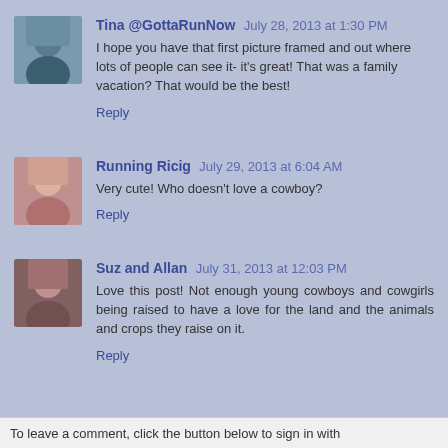Tina @GottaRunNow — July 28, 2013 at 1:30 PM
I hope you have that first picture framed and out where lots of people can see it- it's great! That was a family vacation? That would be the best!
Reply
Running Ricig — July 29, 2013 at 6:04 AM
Very cute! Who doesn't love a cowboy?
Reply
Suz and Allan — July 31, 2013 at 12:03 PM
Love this post! Not enough young cowboys and cowgirls being raised to have a love for the land and the animals and crops they raise on it.
Reply
To leave a comment, click the button below to sign in with